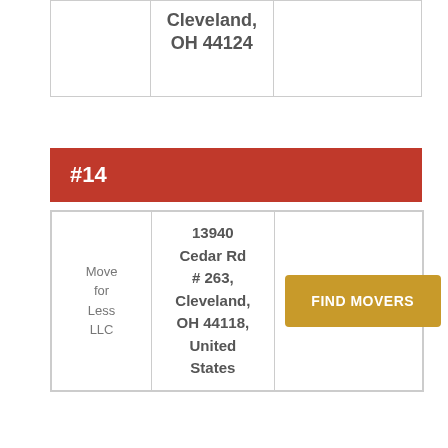|  |  |  |
| --- | --- | --- |
|  | Cleveland,
OH 44124 |  |
| #14 |
| --- |
| Move for Less LLC | 13940 Cedar Rd # 263, Cleveland, OH 44118, United States | FIND MOVERS |